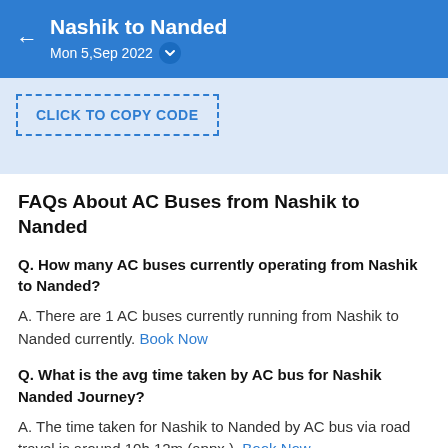Nashik to Nanded
Mon 5,Sep 2022
[Figure (screenshot): Click to copy coupon code button with dashed blue border]
FAQs About AC Buses from Nashik to Nanded
Q. How many AC buses currently operating from Nashik to Nanded?
A. There are 1 AC buses currently running from Nashik to Nanded currently. Book Now
Q. What is the avg time taken by AC bus for Nashik Nanded Journey?
A. The time taken for Nashik to Nanded by AC bus via road travel is around 10h 12m (appx.). Book Now